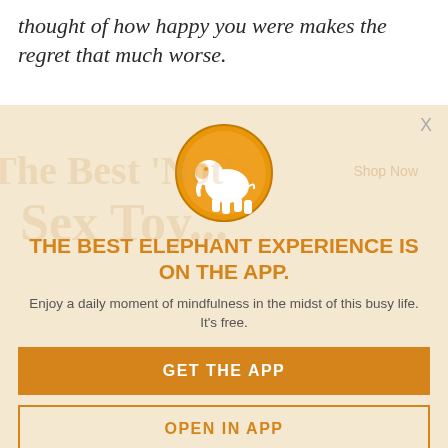thought of how happy you were makes the regret that much worse.
[Figure (screenshot): App promotion modal overlay on a webpage. Contains an orange elephant logo icon, bold orange headline 'THE BEST ELEPHANT EXPERIENCE IS ON THE APP.', subtitle text 'Enjoy a daily moment of mindfulness in the midst of this busy life. It's free.', an orange 'GET THE APP' button, and an outlined 'OPEN IN APP' button. A close 'X' appears in the top right. Background shows a faded advertisement watermark.]